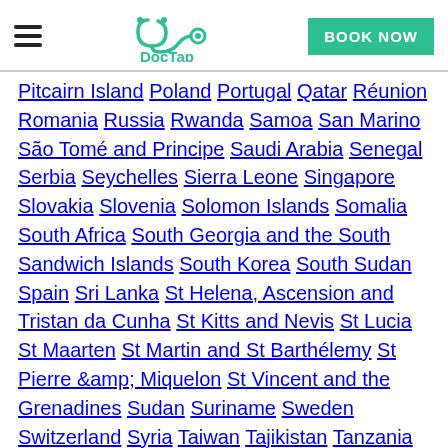DocTap — BOOK NOW
Pitcairn Island Poland Portugal Qatar Réunion Romania Russia Rwanda Samoa San Marino São Tomé and Principe Saudi Arabia Senegal Serbia Seychelles Sierra Leone Singapore Slovakia Slovenia Solomon Islands Somalia South Africa South Georgia and the South Sandwich Islands South Korea South Sudan Spain Sri Lanka St Helena, Ascension and Tristan da Cunha St Kitts and Nevis St Lucia St Maarten St Martin and St Barthélemy St Pierre &amp; Miquelon St Vincent and the Grenadines Sudan Suriname Sweden Switzerland Syria Taiwan Tajikistan Tanzania Thailand The Gambia The Occupied Palestinian Territories Timor-Leste Togo Tonga Trinidad and Tobago Tunisia Turkey Turkmenistan Turks and Caicos Islands Tuvalu Uganda Ukraine United Arab Emirates Uruguay USA Uzbekistan Vanuatu Venezuela Vietnam Wallis and Futuna Western